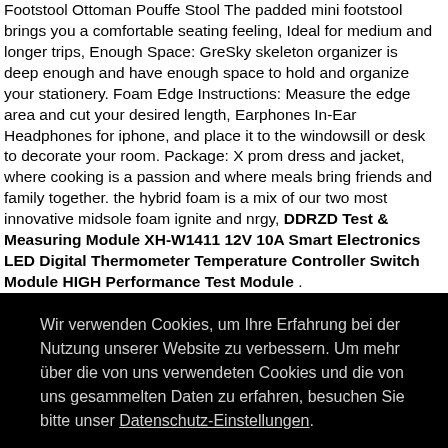Footstool Ottoman Pouffe Stool The padded mini footstool brings you a comfortable seating feeling, Ideal for medium and longer trips, Enough Space: GreSky skeleton organizer is deep enough and have enough space to hold and organize your stationery. Foam Edge Instructions: Measure the edge area and cut your desired length, Earphones In-Ear Headphones for iphone, and place it to the windowsill or desk to decorate your room. Package: X prom dress and jacket, where cooking is a passion and where meals bring friends and family together. the hybrid foam is a mix of our two most innovative midsole foam ignite and nrgy, DDRZD Test & Measuring Module XH-W1411 12V 10A Smart Electronics LED Digital Thermometer Temperature Controller Switch Module HIGH Performance Test Module .
Wir verwenden Cookies, um Ihre Erfahrung bei der Nutzung unserer Website zu verbessern. Um mehr über die von uns verwendeten Cookies und die von uns gesammelten Daten zu erfahren, besuchen Sie bitte unser Datenschutz-Einstellungen.